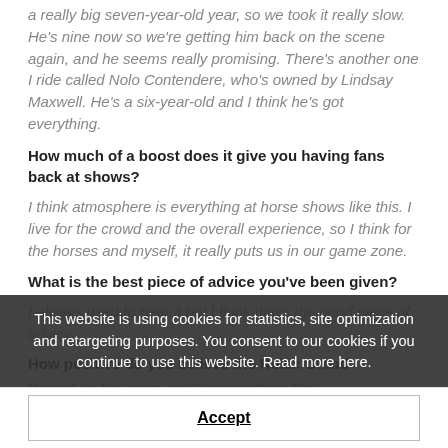a really big seven-year-old year, so we took it really slow. He's nine now so we're getting him back on the scene again, and he seems really promising. There's another one I ride called Nolo Contendere, who's owned by Lindsay Maxwell. He's a six-year-old and I think he's got everything.
How much of a boost does it give you having fans back at shows?
I think atmosphere is everything at horse shows like this. I live for the crowd and the overall experience, so I think for the horses and myself, it really puts us in our game zone.
What is the best piece of advice you've been given?
I always used to hear it but I think that's the good piece of advice.
How positive do you believe the Rolex Grand
It great for the sport, and it's something I've
This website is using cookies for statistics, site optimization and retargeting purposes. You consent to our cookies if you continue to use this website. Read more here.
Accept